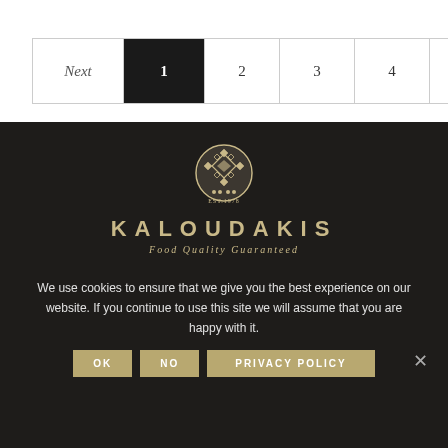| Next | 1 | 2 | 3 | 4 | 5 | 6 | ... | 9 |
| --- | --- | --- | --- | --- | --- | --- | --- | --- |
[Figure (logo): Kaloudakis logo: circular ornamental emblem with diamond patterns, four dots below, EST.1978 text, KALOUDAKIS brand name in spaced caps, tagline 'Food Quality Guaranteed']
We use cookies to ensure that we give you the best experience on our website. If you continue to use this site we will assume that you are happy with it.
OK   NO   PRIVACY POLICY